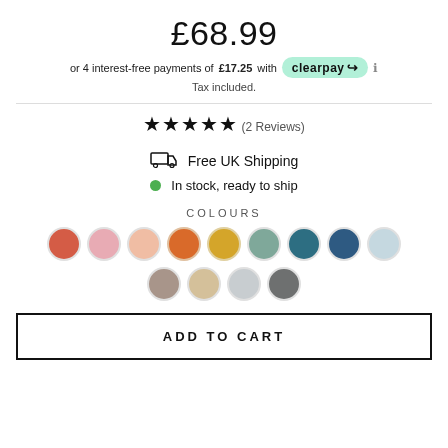£68.99
or 4 interest-free payments of £17.25 with clearpay ℹ
Tax included.
★★★★★ (2 Reviews)
Free UK Shipping
In stock, ready to ship
COLOURS
[Figure (other): Colour swatches: row 1 - terracotta red, pink, peach, orange, amber/yellow, sage green, teal, navy blue, light blue/grey; row 2 - taupe/mauve, beige/sand, light grey, dark grey]
ADD TO CART